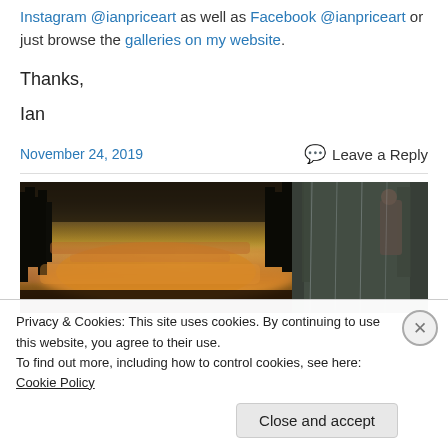Instagram @ianpriceart as well as Facebook @ianpriceart or just browse the galleries on my website.
Thanks,
Ian
November 24, 2019
Leave a Reply
[Figure (photo): Two side-by-side photos: left shows a dramatic sunset with silhouetted trees and orange/purple sky; right shows a person outdoors in a forested area with smoke or mist.]
Privacy & Cookies: This site uses cookies. By continuing to use this website, you agree to their use.
To find out more, including how to control cookies, see here: Cookie Policy